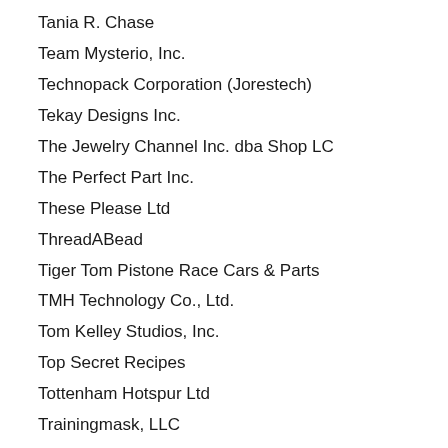Tania R. Chase
Team Mysterio, Inc.
Technopack Corporation (Jorestech)
Tekay Designs Inc.
The Jewelry Channel Inc. dba Shop LC
The Perfect Part Inc.
These Please Ltd
ThreadABead
Tiger Tom Pistone Race Cars & Parts
TMH Technology Co., Ltd.
Tom Kelley Studios, Inc.
Top Secret Recipes
Tottenham Hotspur Ltd
Trainingmask, LLC